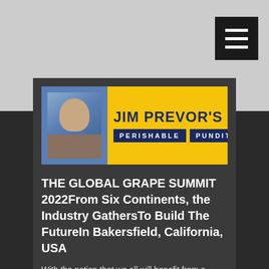[Figure (logo): Jim Prevor's Perishable Pundit logo banner with photo of Jim Prevor on left and text on yellow background]
THE GLOBAL GRAPE SUMMIT 2022From Six Continents, the Industry GathersTo Build The FutureIn Bakersfield, California, USA
With the notion that we all will benefit from a better industry, from increased consumption, diversity in marketing